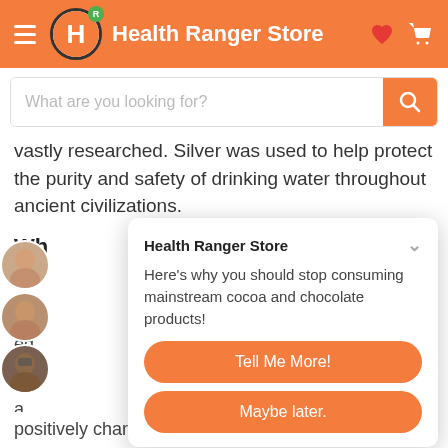Health Ranger Store
What are you looking for?
vastly researched. Silver was used to help protect the purity and safety of drinking water throughout ancient civilizations.
Wh
So cor eq m a
[Figure (screenshot): Health Ranger Store popup with title 'Health Ranger Store', message 'Here’s why you should stop consuming mainstream cocoa and chocolate products!', and two buttons: 'Tell Me More!' and 'Maybe later.']
positively charged (bio-active). Bio-Active Silver